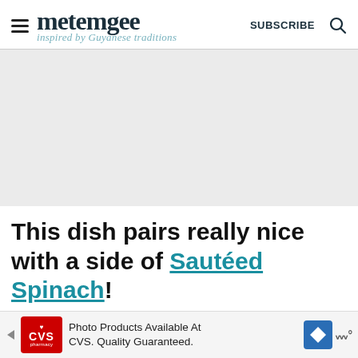metemgee — inspired by Guyanese traditions — SUBSCRIBE
[Figure (other): Gray advertisement placeholder block]
This dish pairs really nice with a side of Sautéed Spinach!
[Figure (other): CVS Pharmacy banner advertisement: Photo Products Available At CVS. Quality Guaranteed.]